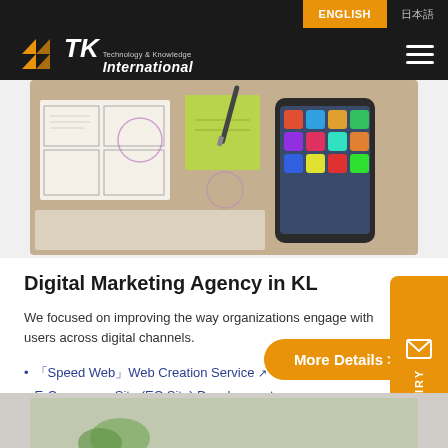ENGLISH | 日本語
[Figure (logo): TK International Technology & Knowledge logo with orange arrow icon on black background]
[Figure (photo): Desk scene with smartphone, papers, wireframe sketches, and green sticky note with pen]
Digital Marketing Agency in KL
We focused on improving the way organizations engage with users across digital channels.
「Speed Web」Web Creation Service ↗
E-Commerce Site (EC Site) Development
Website SEO Management
SNS AD Management
More Details >